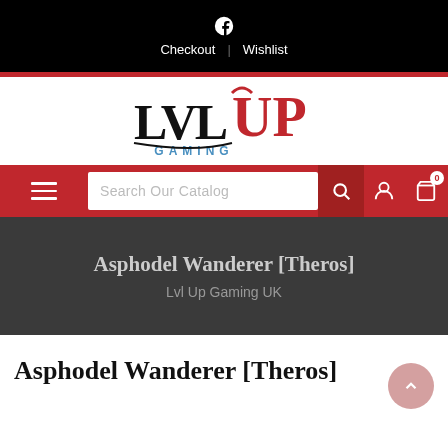Checkout | Wishlist
[Figure (logo): LvlUp Gaming logo with 'LVL' in black serif and 'UP' in red serif, 'GAMING' in blue sans-serif below]
Search Our Catalog — navigation bar with hamburger menu, search box, search icon, user icon, cart icon (0)
Asphodel Wanderer [Theros]
Lvl Up Gaming UK
Asphodel Wanderer [Theros]